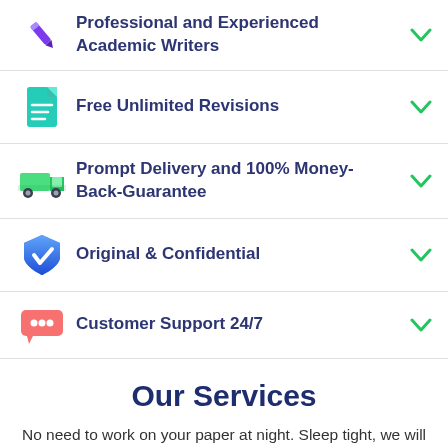Professional and Experienced Academic Writers
Free Unlimited Revisions
Prompt Delivery and 100% Money-Back-Guarantee
Original & Confidential
Customer Support 24/7
Our Services
No need to work on your paper at night. Sleep tight, we will cover your back. We offer all kinds of writing services.